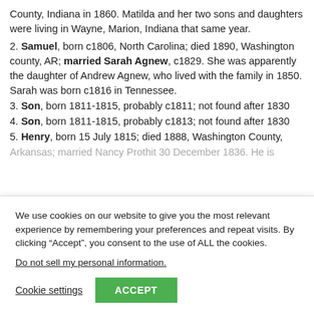County, Indiana in 1860. Matilda and her two sons and daughters were living in Wayne, Marion, Indiana that same year.
2. Samuel, born c1806, North Carolina; died 1890, Washington county, AR; married Sarah Agnew, c1829. She was apparently the daughter of Andrew Agnew, who lived with the family in 1850. Sarah was born c1816 in Tennessee.
3. Son, born 1811-1815, probably c1811; not found after 1830
4. Son, born 1811-1815, probably c1813; not found after 1830
5. Henry, born 15 July 1815; died 1888, Washington County, Arkansas; married Nancy Prothit 30 December 1836. He is
We use cookies on our website to give you the most relevant experience by remembering your preferences and repeat visits. By clicking “Accept”, you consent to the use of ALL the cookies.
Do not sell my personal information.
Cookie settings  ACCEPT